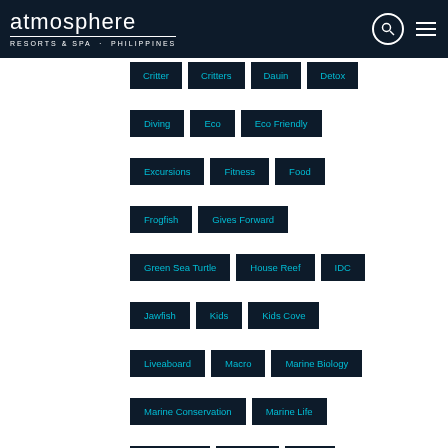atmosphere RESORTS & SPA · PHILIPPINES
Critter
Critters
Dauin
Detox
Diving
Eco
Eco Friendly
Excursions
Fitness
Food
Frogfish
Gives Forward
Green Sea Turtle
House Reef
IDC
Jawfish
Kids
Kids Cove
Liveaboard
Macro
Marine Biology
Marine Conservation
Marine Life
Muck Diving
Octopus
PADI
PADI Course
Pipefish
Project AWARE